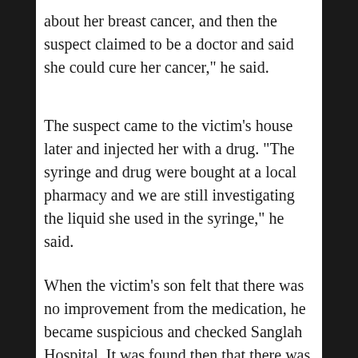about her breast cancer, and then the suspect claimed to be a doctor and said she could cure her cancer," he said.
The suspect came to the victim's house later and injected her with a drug. “The syringe and drug were bought at a local pharmacy and we are still investigating the liquid she used in the syringe,” he said.
When the victim’s son felt that there was no improvement from the medication, he became suspicious and checked Sanglah Hospital. It was found then that there was no Surgeon Dr. Bella at the hospital.